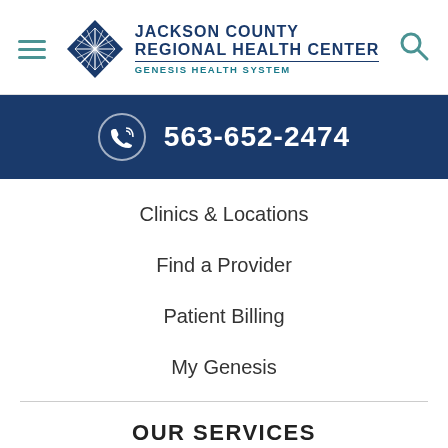[Figure (logo): Jackson County Regional Health Center - Genesis Health System logo with diamond star emblem]
563-652-2474
Clinics & Locations
Find a Provider
Patient Billing
My Genesis
OUR SERVICES